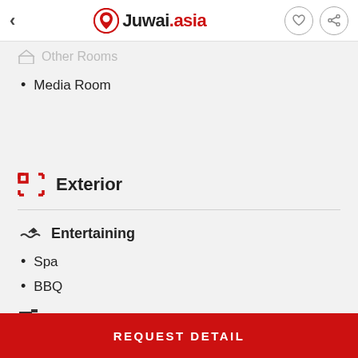Juwai.asia
Other Rooms
Media Room
Exterior
Entertaining
Spa
BBQ
Exterior Features
REQUEST DETAIL